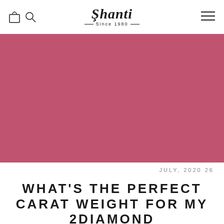Shanti Since 1980 — navigation header with bag, search, and menu icons
[Figure (photo): Large hero image with solid rose/mauve red background color]
JULY, 2020 26
WHAT'S THE PERFECT CARAT WEIGHT FOR MY 2DIAMOND